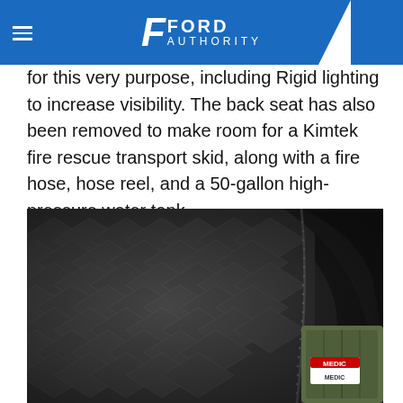FORD AUTHORITY
for this very purpose, including Rigid lighting to increase visibility. The back seat has also been removed to make room for a Kimtek fire rescue transport skid, along with a fire hose, hose reel, and a 50-gallon high-pressure water tank.
[Figure (photo): Close-up interior photo of dark quilted/textured leather car seat with stitching visible, and a green medic bag visible in the lower right corner.]